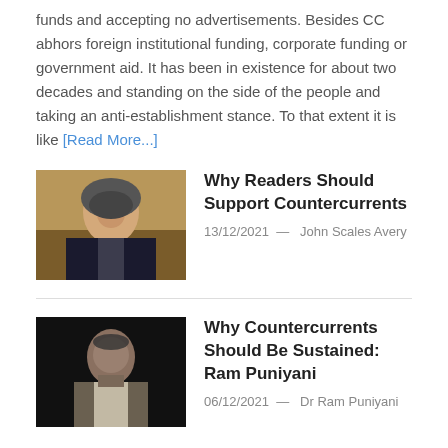funds and accepting no advertisements. Besides CC abhors foreign institutional funding, corporate funding or government aid. It has been in existence for about two decades and standing on the side of the people and taking an anti-establishment stance. To that extent it is like [Read More...]
[Figure (photo): Portrait photo of an elderly man in a suit at a podium]
Why Readers Should Support Countercurrents
13/12/2021  —  John Scales Avery
[Figure (photo): Portrait photo of Ram Puniyani against a dark background]
Why Countercurrents Should Be Sustained: Ram Puniyani
06/12/2021  —  Dr Ram Puniyani
Archives